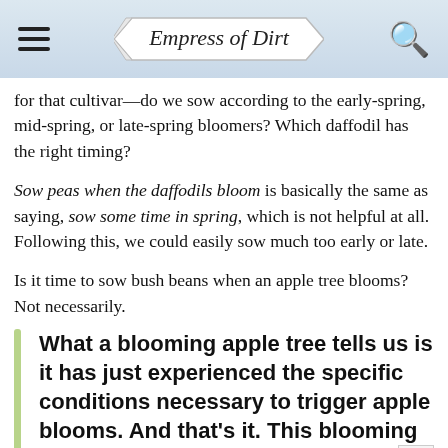Empress of Dirt
for that cultivar—do we sow according to the early-spring, mid-spring, or late-spring bloomers? Which daffodil has the right timing?
Sow peas when the daffodils bloom is basically the same as saying, sow some time in spring, which is not helpful at all. Following this, we could easily sow much too early or late.
Is it time to sow bush beans when an apple tree blooms? Not necessarily.
What a blooming apple tree tells us is it has just experienced the specific conditions necessary to trigger apple blooms. And that's it. This blooming time may or may not align with the